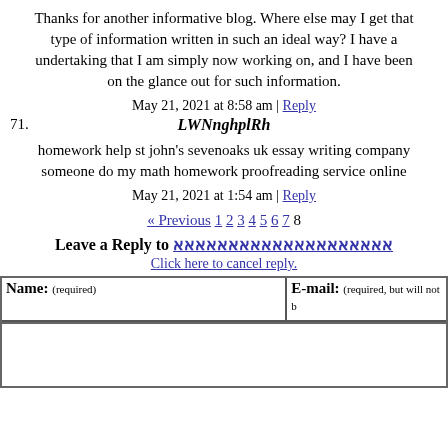Thanks for another informative blog. Where else may I get that type of information written in such an ideal way? I have a undertaking that I am simply now working on, and I have been on the glance out for such information.
May 21, 2021 at 8:58 am | Reply
71. LWNnghplRh
homework help st john's sevenoaks uk essay writing company someone do my math homework proofreading service online
May 21, 2021 at 1:54 am | Reply
« Previous 1 2 3 4 5 6 7 8
Leave a Reply to [username]
Click here to cancel reply.
| Name: (required) | E-mail: (required, but will not be published) |
| --- | --- |
|  |  |